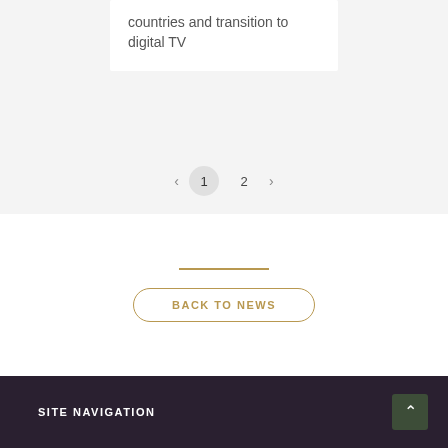countries and transition to digital TV
< 1 2 >
BACK TO NEWS
SITE NAVIGATION